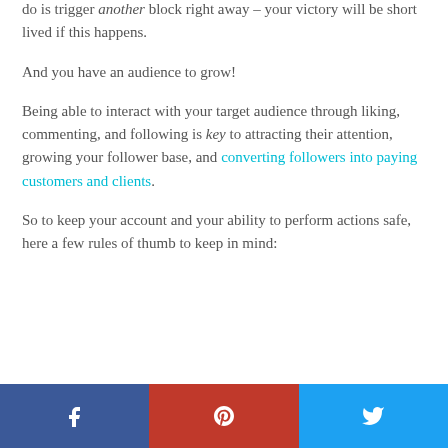do is trigger another block right away – your victory will be short lived if this happens.
And you have an audience to grow!
Being able to interact with your target audience through liking, commenting, and following is key to attracting their attention, growing your follower base, and converting followers into paying customers and clients.
So to keep your account and your ability to perform actions safe, here a few rules of thumb to keep in mind:
[Figure (infographic): Social sharing bar with three buttons: Facebook (blue), Pinterest (red), Twitter (light blue), each with their respective icons]